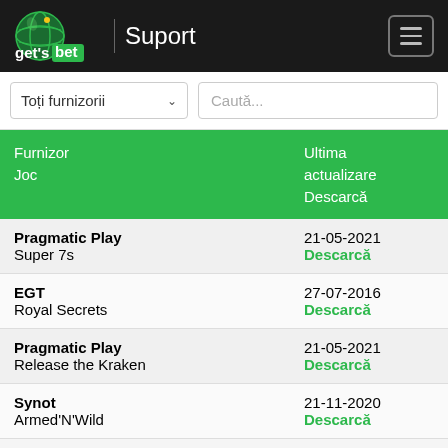get's bet | Suport
Toți furnizorii
Caută...
| Furnizor
Joc | Ultima actualizare
Descarcă |
| --- | --- |
| Pragmatic Play
Super 7s | 21-05-2021
Descarcă |
| EGT
Royal Secrets | 27-07-2016
Descarcă |
| Pragmatic Play
Release the Kraken | 21-05-2021
Descarcă |
| Synot
Armed'N'Wild | 21-11-2020
Descarcă |